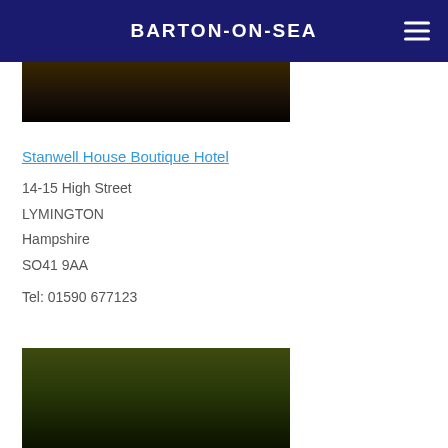BARTON-ON-SEA
[Figure (photo): Dark nighttime exterior photo of a building, partially visible at the top of the page]
Stanwell House Boutique Hotel
14-15 High Street
LYMINGTON
Hampshire
SO41 9AA

Tel: 01590 677123
[Figure (photo): Outdoor daytime photo showing trees with green foliage, sunlight filtering through, and a figure in the background]